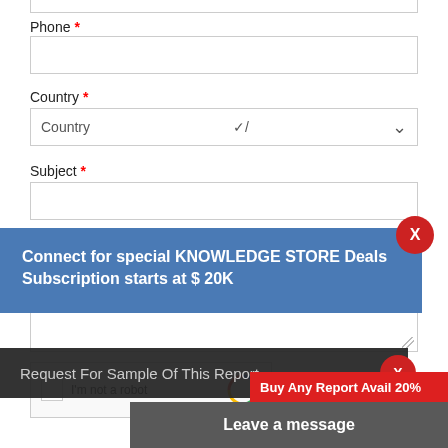Phone *
Country *
Subject *
Connect for special KNOWLEDGE STORE Deals
Subscription starts at $ 20K
Request For Sample Of This Report
Buy Any Report Avail 20%
Code:
Leave a message